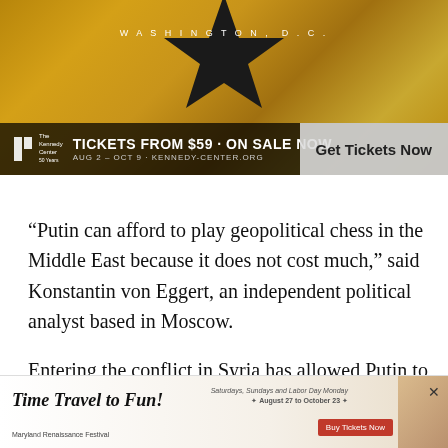[Figure (infographic): Hamilton musical advertisement banner for Kennedy Center Washington D.C. Black star on golden textured background. Text: WASHINGTON, D.C. Bottom bar: TICKETS FROM $59 · ON SALE NOW / AUG 2 – OCT 9 · KENNEDY-CENTER.ORG with Get Tickets Now button]
“Putin can afford to play geopolitical chess in the Middle East because it does not cost much,” said Konstantin von Eggert, an independent political analyst based in Moscow.
Entering the conflict in Syria has allowed Putin to combat
[Figure (infographic): Maryland Renaissance Festival advertisement. Time Travel to Fun! Saturdays, Sundays and Labor Day Monday August 27 to October 23. Buy Tickets Now button. Close X button.]